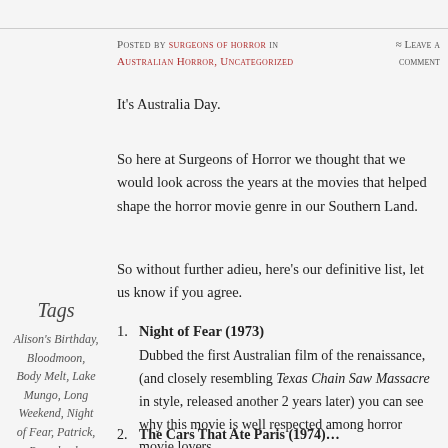Posted by surgeons of horror in Australian Horror, Uncategorized ≈ Leave a comment
It's Australia Day.
So here at Surgeons of Horror we thought that we would look across the years at the movies that helped shape the horror movie genre in our Southern Land.
So without further adieu, here's our definitive list, let us know if you agree.
Night of Fear (1973) Dubbed the first Australian film of the renaissance, (and closely resembling Texas Chain Saw Massacre in style, released another 2 years later) you can see why this movie is well respected among horror movie lovers.
Tags
Alison's Birthday, Bloodmoon, Body Melt, Lake Mungo, Long Weekend, Night of Fear, Patrick, Razorback, Roadgames, Saw, The Babadook, The Cars That Ate Paris, the